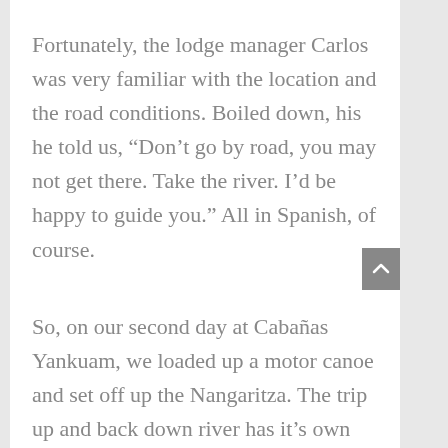Fortunately, the lodge manager Carlos was very familiar with the location and the road conditions. Boiled down, his he told us, “Don’t go by road, you may not get there. Take the river. I’d be happy to guide you.” All in Spanish, of course.
So, on our second day at Cabañas Yankuam, we loaded up a motor canoe and set off up the Nangaritza. The trip up and back down river has it’s own interesting story which I’ll cover in another post. For now, let’s